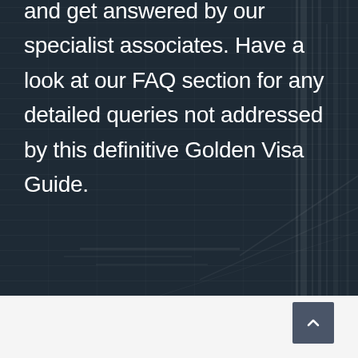and get answered by our specialist associates. Have a look at our FAQ section for any detailed queries not addressed by this definitive Golden Visa Guide.
[Figure (photo): Dark background with architectural/building structures visible, creating a dark overlay effect]